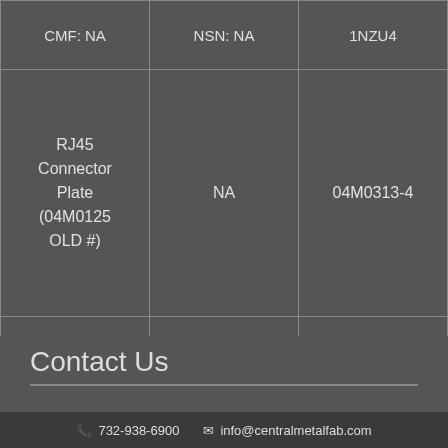|  |  |  |
| --- | --- | --- |
| CMF: NA | NSN: NA | 1NZU4 |
| RJ45 Connector Plate (04M0125 OLD #) | NA | 04M0313-4 |
| CMF: NA | NSN: NA | 1NZU4 |
Contact Us
CONTACT US
📞 732-938-6900  ✉ info@centralmetalfab.com